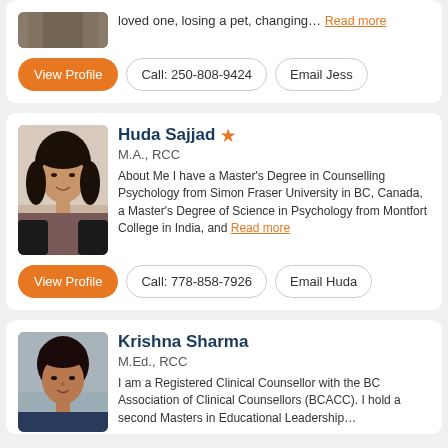[Figure (photo): Partial photo of a person, cropped at top, with action buttons below including View Profile, Call: 250-808-9424, Email Jess]
loved one, losing a pet, changing... Read more
View Profile | Call: 250-808-9424 | Email Jess
Huda Sajjad ★
M.A., RCC
About Me I have a Master's Degree in Counselling Psychology from Simon Fraser University in BC, Canada, a Master's Degree of Science in Psychology from Montfort College in India, and... Read more
View Profile | Call: 778-858-7926 | Email Huda
Krishna Sharma
M.Ed., RCC
I am a Registered Clinical Counsellor with the BC Association of Clinical Counsellors (BCACC). I hold a second Masters in Educational Leadership...